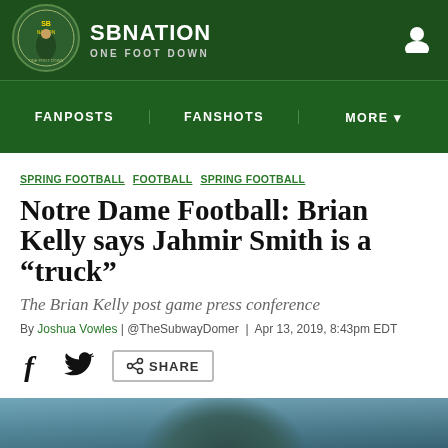SBNATION ONE FOOT DOWN
FANPOSTS | FANSHOTS | MORE
SPRING FOOTBALL FOOTBALL SPRING FOOTBALL
Notre Dame Football: Brian Kelly says Jahmir Smith is a “truck”
The Brian Kelly post game press conference
By Joshua Vowles | @TheSubwayDomer | Apr 13, 2019, 8:43pm EDT
[Figure (photo): Social share icons: Facebook, Twitter, and a Share button]
[Figure (photo): Blurred bottom photo of a football player in blue/green uniform]